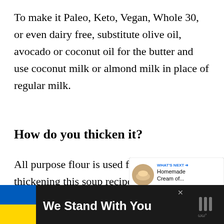To make it Paleo, Keto, Vegan, Whole 30, or even dairy free, substitute olive oil, avocado or coconut oil for the butter and use coconut milk or almond milk in place of regular milk.
How do you thicken it?
All purpose flour is used for thickening this soup recipe. It is important to mix the flour with the butter and cook for a minu... This will remove the flavor of flour and cr...
[Figure (screenshot): UI overlay with heart/favorite button (blue circle with heart icon) and share button (grey circle with share icon), plus a 'WHAT'S NEXT' card showing 'Homemade Cream of...']
[Figure (infographic): Bottom advertisement banner: Ukrainian flag on left (blue and yellow), bold white text 'We Stand With You', close button, and a media logo on the right on dark background]